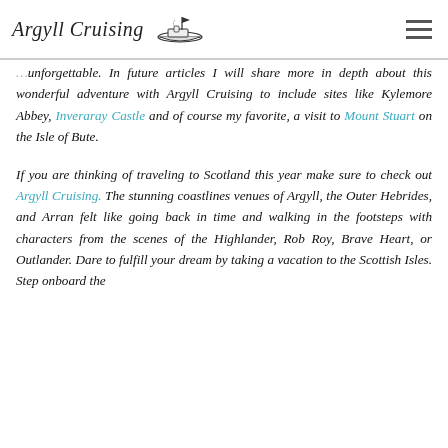Argyll Cruising [logo with ship illustration]
…unforgettable. In future articles I will share more in depth about this wonderful adventure with Argyll Cruising to include sites like Kylemore Abbey, Inveraray Castle and of course my favorite, a visit to Mount Stuart on the Isle of Bute.
If you are thinking of traveling to Scotland this year make sure to check out Argyll Cruising. The stunning coastlines venues of Argyll, the Outer Hebrides, and Arran felt like going back in time and walking in the footsteps with characters from the scenes of the Highlander, Rob Roy, Brave Heart, or Outlander. Dare to fulfill your dream by taking a vacation to the Scottish Isles. Step onboard the